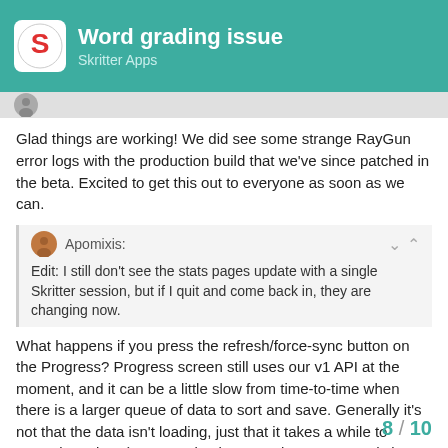Word grading issue
Skritter Apps
Glad things are working! We did see some strange RayGun error logs with the production build that we've since patched in the beta. Excited to get this out to everyone as soon as we can.
Apomixis: Edit: I still don't see the stats pages update with a single Skritter session, but if I quit and come back in, they are changing now.
What happens if you press the refresh/force-sync button on the Progress? Progress screen still uses our v1 API at the moment, and it can be a little slow from time-to-time when there is a larger queue of data to sort and save. Generally it's not that the data isn't loading, just that it takes a while to properly update (I've seen it take more than 10 seconds in some instances. Can't wait to get on v3 API for this stuff).
8 / 10